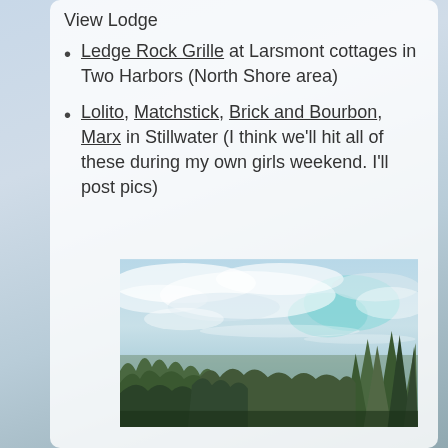View Lodge
Ledge Rock Grille at Larsmont cottages in Two Harbors (North Shore area)
Lolito, Matchstick, Brick and Bourbon, Marx in Stillwater (I think we'll hit all of these during my own girls weekend. I'll post pics)
[Figure (photo): Outdoor landscape photo showing a forest of evergreen trees (spruce/pine) against a partly cloudy sky with patches of blue and light clouds]